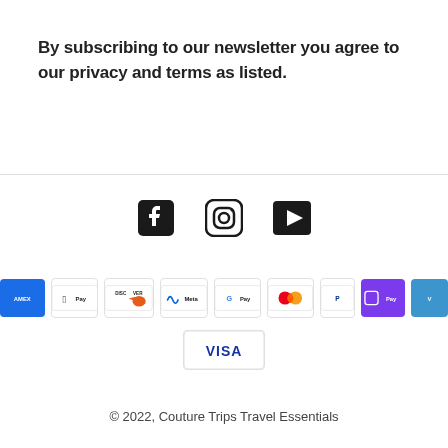By subscribing to our newsletter you agree to our privacy and terms as listed.
[Figure (other): Social media icons: Facebook, Instagram, YouTube]
[Figure (other): Payment method badges: American Express, Apple Pay, Discover, Meta Pay, Google Pay, Mastercard, PayPal, OPay, Venmo, Visa]
© 2022, Couture Trips Travel Essentials